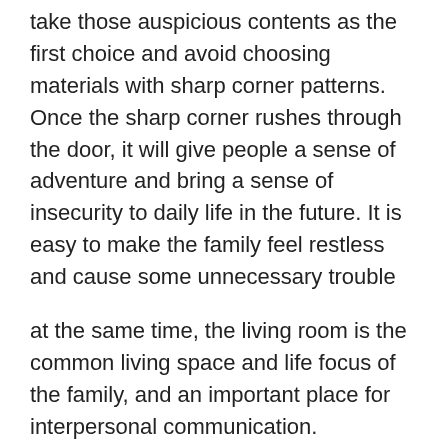take those auspicious contents as the first choice and avoid choosing materials with sharp corner patterns. Once the sharp corner rushes through the door, it will give people a sense of adventure and bring a sense of insecurity to daily life in the future. It is easy to make the family feel restless and cause some unnecessary trouble
at the same time, the living room is the common living space and life focus of the family, and an important place for interpersonal communication. Therefore, Feng Shui here is very important. At the same time, the living room is also the facade of the house. From the decoration, we can see the personality and taste of the homeowner. Generally speaking, the living room should give people a comfortable and elegant feeling, not messy and vulgar